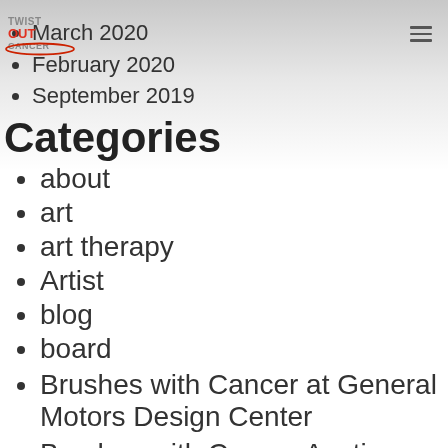Twist Out Cancer
March 2020
February 2020
September 2019
Categories
about
art
art therapy
Artist
blog
board
Brushes with Cancer at General Motors Design Center
Brushes with Cancer Austin